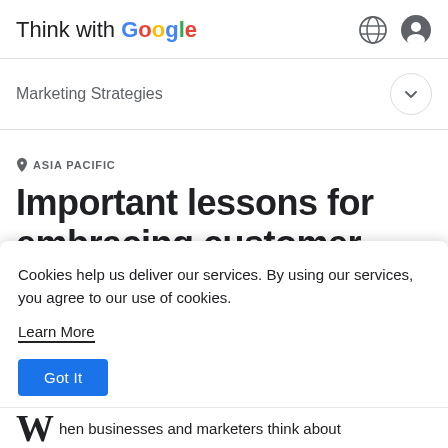Think with Google
Marketing Strategies
ASIA PACIFIC
Important lessons for embracing customer lifetime value
Cookies help us deliver our services. By using our services, you agree to our use of cookies.
Learn More
Got It
hen businesses and marketers think about